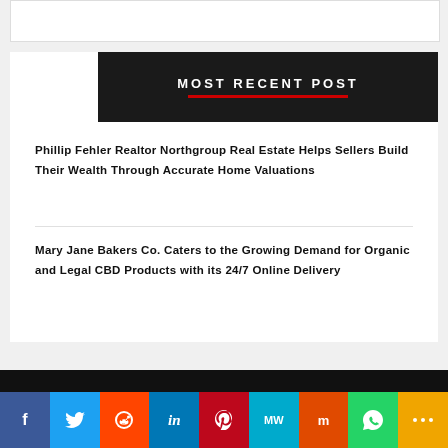MOST RECENT POST
Phillip Fehler Realtor Northgroup Real Estate Helps Sellers Build Their Wealth Through Accurate Home Valuations
Mary Jane Bakers Co. Caters to the Growing Demand for Organic and Legal CBD Products with its 24/7 Online Delivery
Social share bar: Facebook, Twitter, Reddit, LinkedIn, Pinterest, MW, Mix, WhatsApp, More